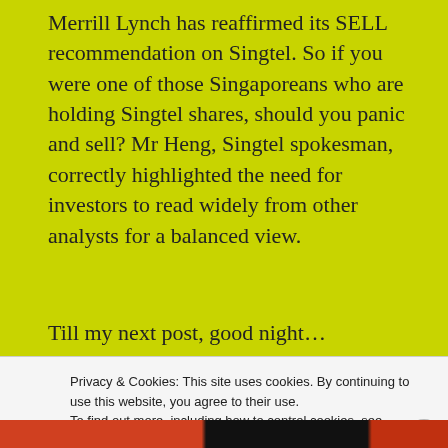Merrill Lynch has reaffirmed its SELL recommendation on Singtel. So if you were one of those Singaporeans who are holding Singtel shares, should you panic and sell? Mr Heng, Singtel spokesman, correctly highlighted the need for investors to read widely from other analysts for a balanced view.
Till my next post, good night…
SEPTEMBER 18, 2006
Privacy & Cookies: This site uses cookies. By continuing to use this website, you agree to their use. To find out more, including how to control cookies, see here: Cookie Policy
Close and accept